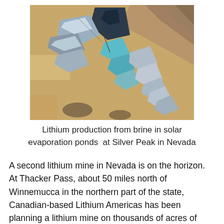[Figure (photo): Aerial photograph of lithium production solar evaporation ponds at Silver Peak in Nevada. Shows reflective rectangular ponds with turquoise and silver colors set in a desert landscape with sandy/orange terrain and mountains in the background.]
Lithium production from brine in solar evaporation ponds  at Silver Peak in Nevada
A second lithium mine in Nevada is on the horizon. At Thacker Pass, about 50 miles north of Winnemucca in the northern part of the state, Canadian-based Lithium Americas has been planning a lithium mine on thousands of acres of land managed by the